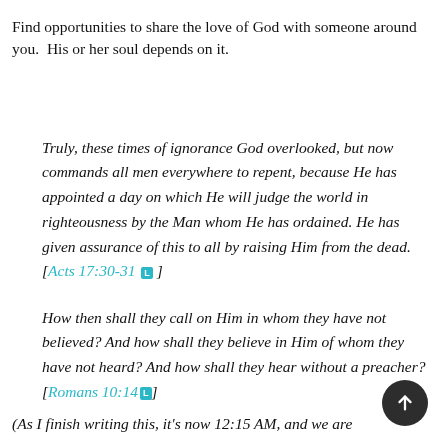Find opportunities to share the love of God with someone around you.  His or her soul depends on it.
Truly, these times of ignorance God overlooked, but now commands all men everywhere to repent, because He has appointed a day on which He will judge the world in righteousness by the Man whom He has ordained. He has given assurance of this to all by raising Him from the dead.  [Acts 17:30-31 ]
How then shall they call on Him in whom they have not believed? And how shall they believe in Him of whom they have not heard? And how shall they hear without a preacher? [Romans 10:14 ]
(As I finish writing this, it’s now 12:15 AM, and we are